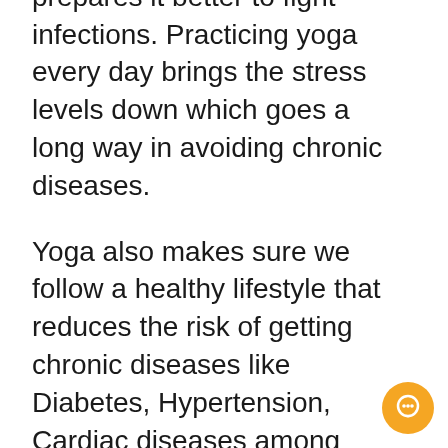system of the body and prepares it better to fight infections. Practicing yoga every day brings the stress levels down which goes a long way in avoiding chronic diseases.
Yoga also makes sure we follow a healthy lifestyle that reduces the risk of getting chronic diseases like Diabetes, Hypertension, Cardiac diseases among others. Yoga improves blood circulation and flow and can normalize blood